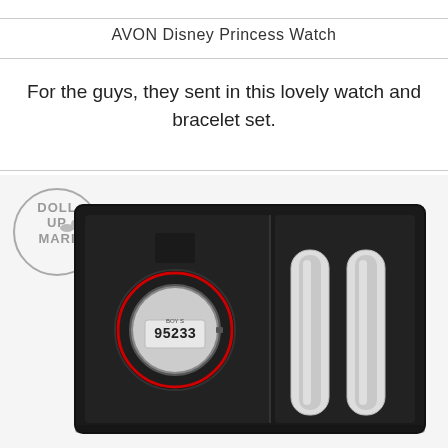AVON Disney Princess Watch
For the guys, they sent in this lovely watch and bracelet set.
[Figure (photo): Photo of a watch and bracelet set in a black gift box. The watch is a digital sports watch with a black and red bezel displaying 95233. Two silver metal bracelets are placed in the right compartment of the box. A 'Doll Up Mari' logo watermark with a circle and swan icon is overlaid on the upper left.]